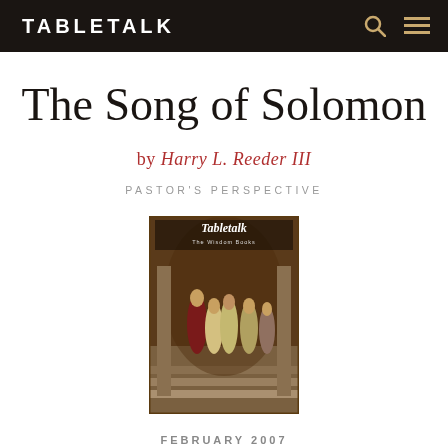TABLETALK
The Song of Solomon
by Harry L. Reeder III
PASTOR'S PERSPECTIVE
[Figure (illustration): Cover of Tabletalk magazine featuring a classical painting of robed figures in an ancient interior setting, with title 'Tabletalk' and subtitle 'The Wisdom Books']
FEBRUARY 2007
VIEW ISSUE